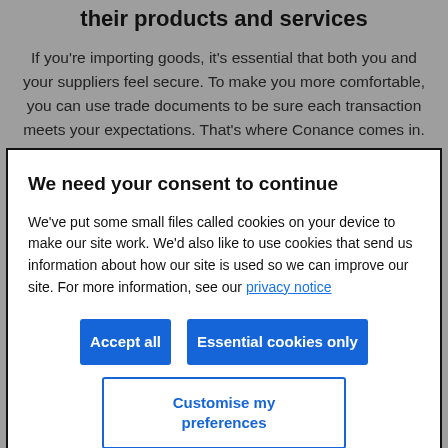their products and services
If you're importing goods, it's essential that both you and your suppliers feel secure. To make you more comfortable, you can use trade documents to be sure each transaction meets your expectations. That's where Conance comes in.
We need your consent to continue
We've put some small files called cookies on your device to make our site work. We'd also like to use cookies that send us information about how our site is used so we can improve our site. For more information, see our privacy notice
Accept all
Essential cookies only
Customise my preferences